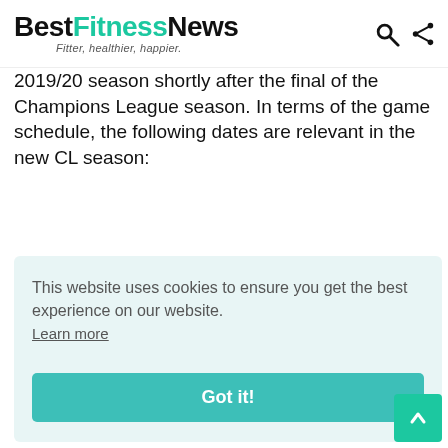BestFitnessNews — Fitter, healthier, happier.
2019/20 season shortly after the final of the Champions League season. In terms of the game schedule, the following dates are relevant in the new CL season:
This website uses cookies to ensure you get the best experience on our website. Learn more Got it!